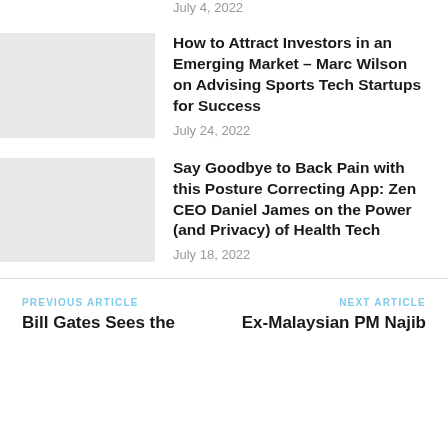July 4, 2022
How to Attract Investors in an Emerging Market – Marc Wilson on Advising Sports Tech Startups for Success
July 24, 2022
Say Goodbye to Back Pain with this Posture Correcting App: Zen CEO Daniel James on the Power (and Privacy) of Health Tech
July 18, 2022
PREVIOUS ARTICLE
Bill Gates Sees the
NEXT ARTICLE
Ex-Malaysian PM Najib